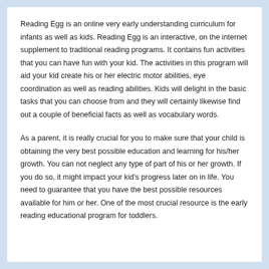Reading Egg is an online very early understanding curriculum for infants as well as kids. Reading Egg is an interactive, on the internet supplement to traditional reading programs. It contains fun activities that you can have fun with your kid. The activities in this program will aid your kid create his or her electric motor abilities, eye coordination as well as reading abilities. Kids will delight in the basic tasks that you can choose from and they will certainly likewise find out a couple of beneficial facts as well as vocabulary words.
As a parent, it is really crucial for you to make sure that your child is obtaining the very best possible education and learning for his/her growth. You can not neglect any type of part of his or her growth. If you do so, it might impact your kid's progress later on in life. You need to guarantee that you have the best possible resources available for him or her. One of the most crucial resource is the early reading educational program for toddlers.